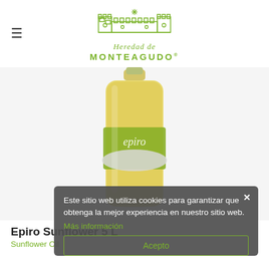[Figure (logo): Heredad de Monteagudo logo with green castle/crown graphic, italic text 'Heredad de' and bold 'MONTEAGUDO']
[Figure (photo): Product photo of Epiro Sunflower 5L oil bottle with yellow liquid and green/silver label]
Este sitio web utiliza cookies para garantizar que obtenga la mejor experiencia en nuestro sitio web. Más información Acepto
Epiro Sunflower 5 L
Sunflower Oil